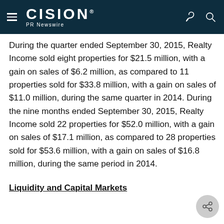CISION PR Newswire
During the quarter ended September 30, 2015, Realty Income sold eight properties for $21.5 million, with a gain on sales of $6.2 million, as compared to 11 properties sold for $33.8 million, with a gain on sales of $11.0 million, during the same quarter in 2014. During the nine months ended September 30, 2015, Realty Income sold 22 properties for $52.0 million, with a gain on sales of $17.1 million, as compared to 28 properties sold for $53.6 million, with a gain on sales of $16.8 million, during the same period in 2014.
Liquidity and Capital Markets
...Issued $15.5 Million Shares Under Continuous Offering...